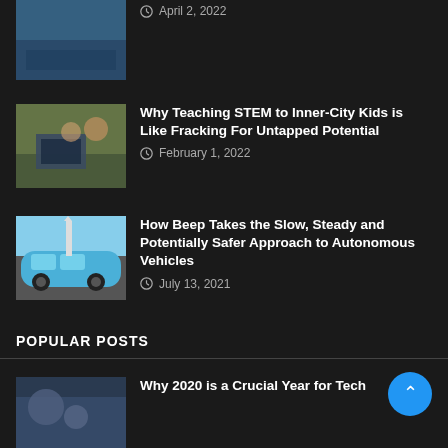[Figure (photo): Partial thumbnail of an article image at top, cropped]
April 2, 2022
[Figure (photo): Children and a teacher around a table with a laptop, STEM education scene]
Why Teaching STEM to Inner-City Kids is Like Fracking For Untapped Potential
February 1, 2022
[Figure (photo): A small autonomous electric shuttle bus (Beep) on a street with a steeple in background]
How Beep Takes the Slow, Steady and Potentially Safer Approach to Autonomous Vehicles
July 13, 2021
POPULAR POSTS
[Figure (photo): Partial thumbnail of a tech-related article image]
Why 2020 is a Crucial Year for Tech